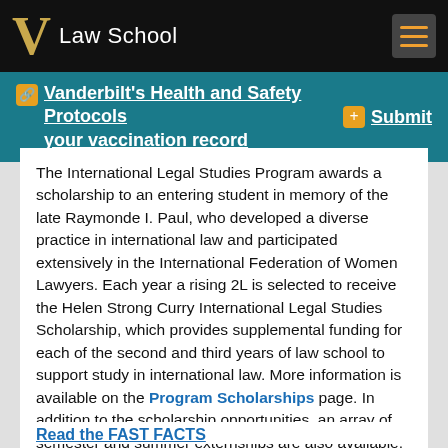V Law School
Vanderbilt's Health and Safety Protocols   Submit your vaccination record
The International Legal Studies Program awards a scholarship to an entering student in memory of the late Raymonde I. Paul, who developed a diverse practice in international law and participated extensively in the International Federation of Women Lawyers. Each year a rising 2L is selected to receive the Helen Strong Curry International Legal Studies Scholarship, which provides supplemental funding for each of the second and third years of law school to support study in international law. More information is available on the Program Scholarships page. In addition to the scholarship opportunities, an array of semester and summer externships are also available, including stipends that are available for students in financial need. More information is available on the Externships page.
Read the FAST FACTS